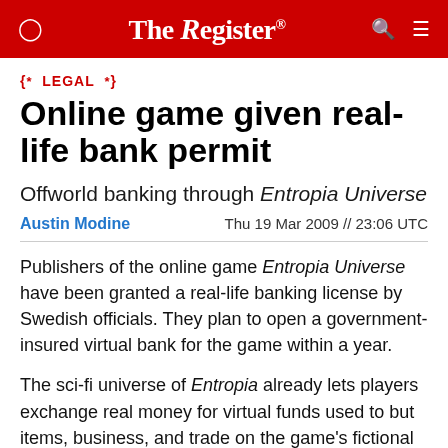The Register
{*  LEGAL  *}
Online game given real-life bank permit
Offworld banking through Entropia Universe
Austin Modine   Thu 19 Mar 2009 // 23:06 UTC
Publishers of the online game Entropia Universe have been granted a real-life banking license by Swedish officials. They plan to open a government-insured virtual bank for the game within a year.
The sci-fi universe of Entropia already lets players exchange real money for virtual funds used to but items, business, and trade on the game's fictional world